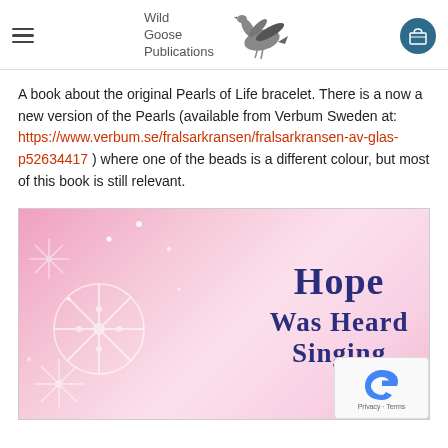Wild Goose Publications
A book about the original Pearls of Life bracelet. There is a now a new version of the Pearls (available from Verbum Sweden at: https://www.verbum.se/fralsarkransen/fralsarkransen-av-glas-p52634417 ) where one of the beads is a different colour, but most of this book is still relevant.
[Figure (photo): Book cover showing 'Hope Was Heard Singing' title text in dark blue on a pink background with snowflake decorations]